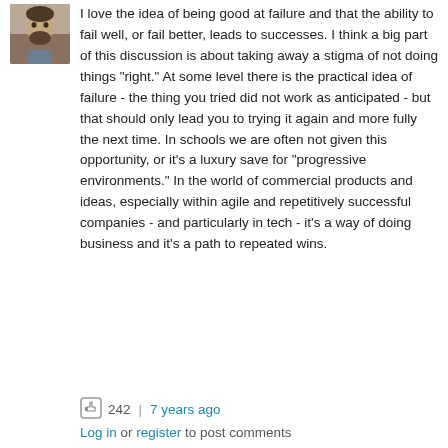[Figure (photo): Small avatar/profile photo of a man with a beard, approximately 60x60 pixels, positioned top-left.]
I love the idea of being good at failure and that the ability to fail well, or fail better, leads to successes. I think a big part of this discussion is about taking away a stigma of not doing things "right." At some level there is the practical idea of failure - the thing you tried did not work as anticipated - but that should only lead you to trying it again and more fully the next time. In schools we are often not given this opportunity, or it's a luxury save for "progressive environments." In the world of commercial products and ideas, especially within agile and repetitively successful companies - and particularly in tech - it's a way of doing business and it's a path to repeated wins.
242 | 7 years ago
Log in or register to post comments